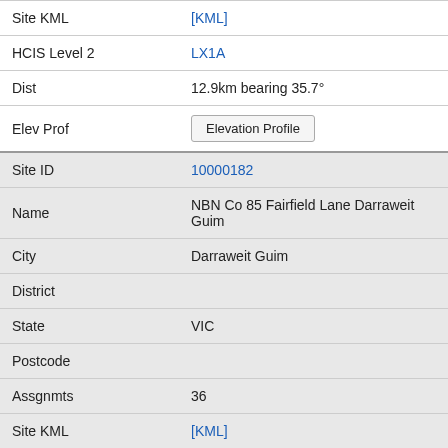| Field | Value |
| --- | --- |
| Site KML | [KML] |
| HCIS Level 2 | LX1A |
| Dist | 12.9km bearing 35.7° |
| Elev Prof | Elevation Profile |
| Site ID | 10000182 |
| Name | NBN Co 85 Fairfield Lane Darraweit Guim |
| City | Darraweit Guim |
| District |  |
| State | VIC |
| Postcode |  |
| Assgnmts | 36 |
| Site KML | [KML] |
| HCIS Level 2 | KX3H |
| Dist | 12.9km bearing 218.7° |
| Elev Prof | Elevation Profile |
| Site ID | 9022505 |
| Name | Telstra Exchange 35 Francis Lane DARRAWEIT |